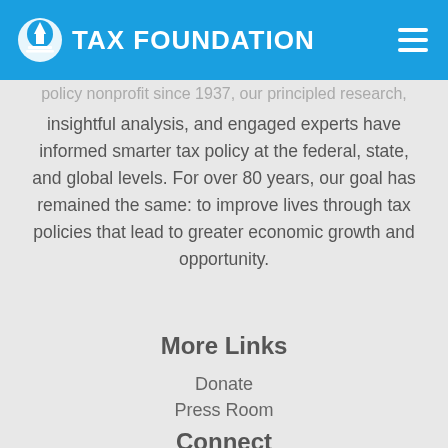TAX FOUNDATION
policy nonprofit since 1937, our principled research, insightful analysis, and engaged experts have informed smarter tax policy at the federal, state, and global levels. For over 80 years, our goal has remained the same: to improve lives through tax policies that lead to greater economic growth and opportunity.
More Links
Donate
Press Room
Careers
Events
Connect